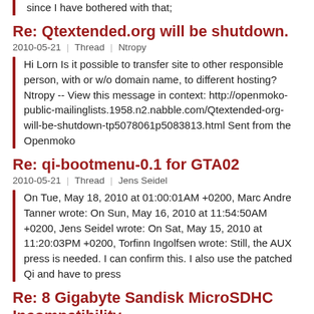since I have bothered with that;
Re: Qtextended.org will be shutdown.
2010-05-21  |  Thread  |  Ntropy
Hi Lorn Is it possible to transfer site to other responsible person, with or w/o domain name, to different hosting? Ntropy -- View this message in context: http://openmoko-public-mailinglists.1958.n2.nabble.com/Qtextended-org-will-be-shutdown-tp5078061p5083813.html Sent from the Openmoko
Re: qi-bootmenu-0.1 for GTA02
2010-05-21  |  Thread  |  Jens Seidel
On Tue, May 18, 2010 at 01:00:01AM +0200, Marc Andre Tanner wrote: On Sun, May 16, 2010 at 11:54:50AM +0200, Jens Seidel wrote: On Sat, May 15, 2010 at 11:20:03PM +0200, Torfinn Ingolfsen wrote: Still, the AUX press is needed. I can confirm this. I also use the patched Qi and have to press
Re: 8 Gigabyte Sandisk MicroSDHC Incompatibility
2010-05-21  |  Thread  |  urodelo
Just a semi-ot: I've recently bought a card for my fr which is